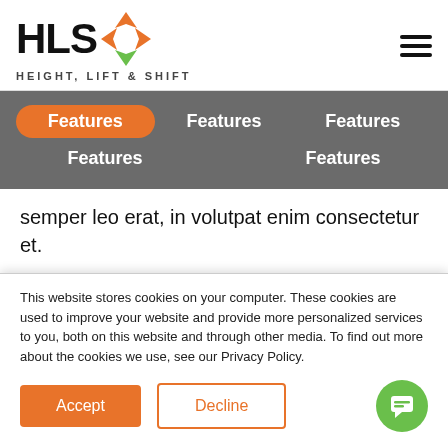[Figure (logo): HLS Height, Lift & Shift logo with orange and green diamond icon]
Features  Features  Features  Features  Features
semper leo erat, in volutpat enim consectetur et.
Maecenas luctus nisl ut eros accumsan fringilla. Nullam fermentum eget nisl in elementum. Aliquam purus velit, feugiat non lacus ac, gravida molestie magna. Morbi ac lacus ipsum. Cras eget accumsan tortor. Fusce
This website stores cookies on your computer. These cookies are used to improve your website and provide more personalized services to you, both on this website and through other media. To find out more about the cookies we use, see our Privacy Policy.